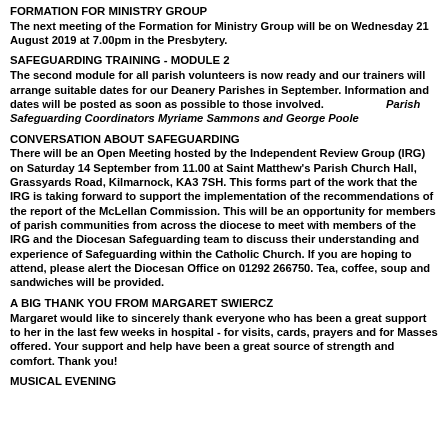FORMATION FOR MINISTRY GROUP
The next meeting of the Formation for Ministry Group will be on Wednesday 21 August 2019 at 7.00pm in the Presbytery.
SAFEGUARDING TRAINING - MODULE 2
The second module for all parish volunteers is now ready and our trainers will arrange suitable dates for our Deanery Parishes in September. Information and dates will be posted as soon as possible to those involved. Parish Safeguarding Coordinators Myriame Sammons and George Poole
CONVERSATION ABOUT SAFEGUARDING
There will be an Open Meeting hosted by the Independent Review Group (IRG) on Saturday 14 September from 11.00 at Saint Matthew's Parish Church Hall, Grassyards Road, Kilmarnock, KA3 7SH. This forms part of the work that the IRG is taking forward to support the implementation of the recommendations of the report of the McLellan Commission. This will be an opportunity for members of parish communities from across the diocese to meet with members of the IRG and the Diocesan Safeguarding team to discuss their understanding and experience of Safeguarding within the Catholic Church. If you are hoping to attend, please alert the Diocesan Office on 01292 266750. Tea, coffee, soup and sandwiches will be provided.
A BIG THANK YOU FROM MARGARET SWIERCZ
Margaret would like to sincerely thank everyone who has been a great support to her in the last few weeks in hospital - for visits, cards, prayers and for Masses offered. Your support and help have been a great source of strength and comfort. Thank you!
MUSICAL EVENING